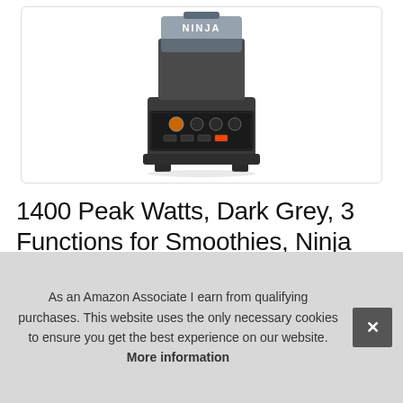[Figure (photo): Ninja BN701 Professional Plus Blender in dark grey color, showing the blender base with control panel featuring power button and settings, and the NINJA logo on the pitcher. Product shown on white background inside a rounded rectangle border.]
1400 Peak Watts, Dark Grey, 3 Functions for Smoothies, Ninja BN701 Professional Plus Bender, 72-oz * Total Crush Ice
As an Amazon Associate I earn from qualifying purchases. This website uses the only necessary cookies to ensure you get the best experience on our website. More information